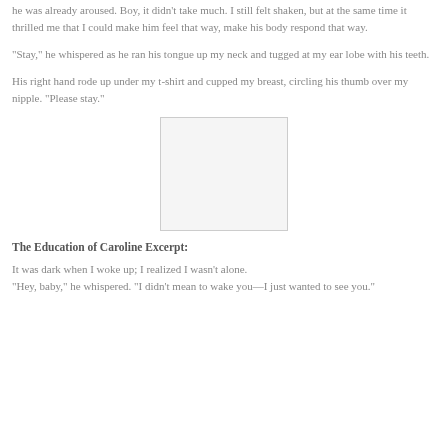he was already aroused. Boy, it didn't take much. I still felt shaken, but at the same time it thrilled me that I could make him feel that way, make his body respond that way.
“Stay,” he whispered as he ran his tongue up my neck and tugged at my ear lobe with his teeth.
His right hand rode up under my t-shirt and cupped my breast, circling his thumb over my nipple. “Please stay.”
[Figure (photo): Blank/white image placeholder with light border]
The Education of Caroline Excerpt:
It was dark when I woke up; I realized I wasn’t alone.
“Hey, baby,” he whispered. “I didn’t mean to wake you—I just wanted to see you.”